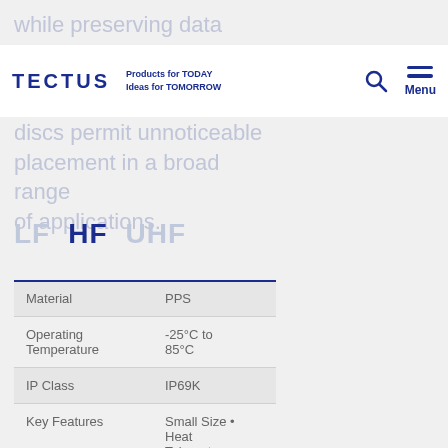TECTUS — Products for TODAY Ideas for TOMORROW
while preserving data
discs permit unnoticeable placement in a broad range of applications.
LF  HF  UHF
|  |  |
| --- | --- |
| Material | PPS |
| Operating Temperature | -25°C to 85°C |
| IP Class | IP69K |
| Key Features | Small Size • Heat Tolerant |